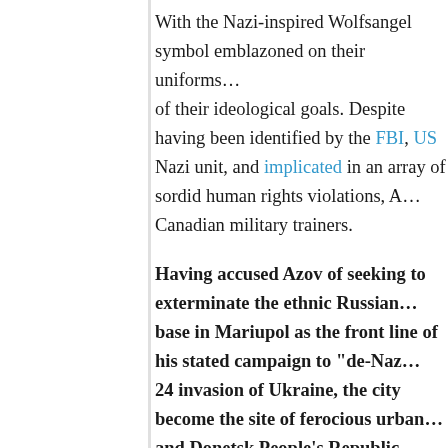With the Nazi-inspired Wolfsangel symbol emblazoned on their uniforms... of their ideological goals. Despite having been identified by the FBI, US ... Nazi unit, and implicated in an array of sordid human rights violations, A... Canadian military trainers.
Having accused Azov of seeking to exterminate the ethnic Russian... base in Mariupol as the front line of his stated campaign to "de-Na... 24 invasion of Ukraine, the city become the site of ferocious urban... and Donetsk People's Republic People's Militia forces waging a blo... artillery rained down on Azov positions.
On March 7, an Azov Battalion commander named Denis Prokopen... with an urgent message. Published on Azov's official YouTube cha... sound of occasional artillery launches, Prokopenko declared that t... "genocide" against the population of Mariupol, which happens to b...
Prokopenko then demanded that Western nations "create a no fly z... modern weapons." It was clear from Prokopenko's plea that Azov's... the day.
As Russia's military rapidly degraded Azov positions throughout th...